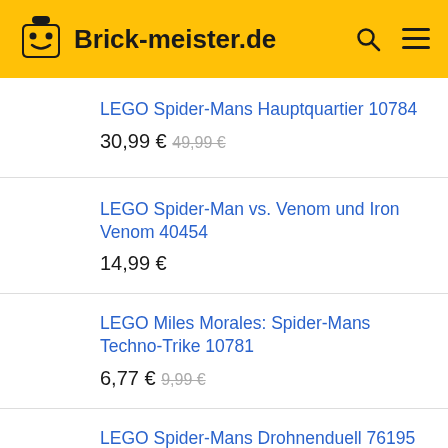Brick-meister.de
LEGO Spider-Mans Hauptquartier 10784
30,99 € 49,99 €
LEGO Spider-Man vs. Venom und Iron Venom 40454
14,99 €
LEGO Miles Morales: Spider-Mans Techno-Trike 10781
6,77 € 9,99 €
LEGO Spider-Mans Drohnenduell 76195
14,99 € 19,99 €